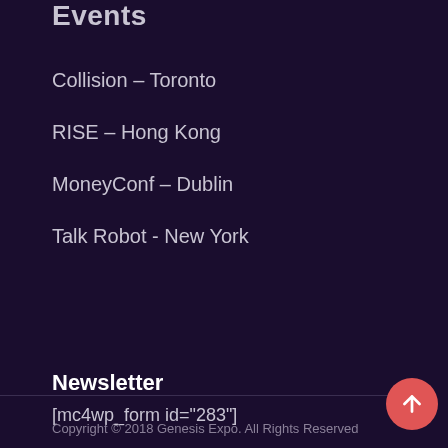Events
Collision – Toronto
RISE – Hong Kong
MoneyConf – Dublin
Talk Robot - New York
Newsletter
[mc4wp_form id="283"]
Copyright © 2018 Genesis Expo. All Rights Reserved